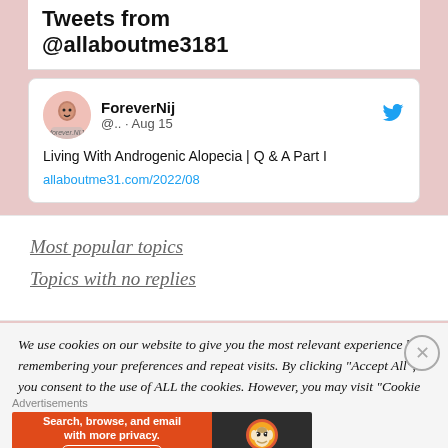Tweets from @allaboutme3181
[Figure (screenshot): Tweet card from ForeverNij (@..) dated Aug 15 with Twitter bird icon, showing tweet text: Living With Androgenic Alopecia | Q & A Part I, with link allaboutme31.com/2022/08]
Most popular topics
Topics with no replies
We use cookies on our website to give you the most relevant experience by remembering your preferences and repeat visits. By clicking "Accept All", you consent to the use of ALL the cookies. However, you may visit "Cookie Settings" to provide a controlled consent.
Advertisements
[Figure (screenshot): DuckDuckGo advertisement banner: Search, browse, and email with more privacy. All in One Free App]